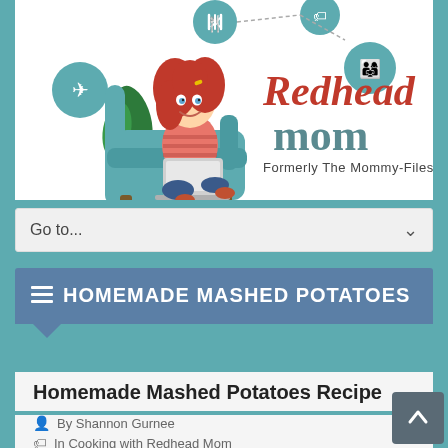[Figure (logo): Redhead Mom blog logo - cartoon redhead woman sitting in teal armchair with laptop, surrounded by circular icons (food/utensils, travel/airplane, deals/tag, family), with 'Redhead mom Formerly The Mommy-Files' text in red and teal script]
Go to...
HOMEMADE MASHED POTATOES
Homemade Mashed Potatoes Recipe
By Shannon Gurnee
In Cooking with Redhead Mom